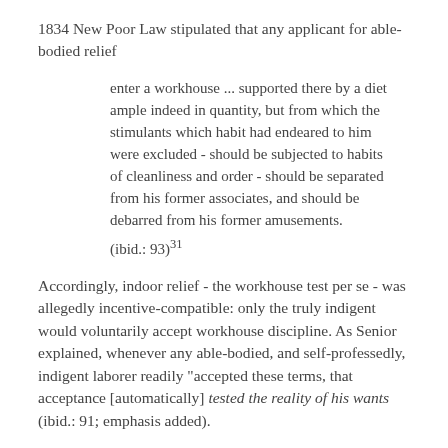1834 New Poor Law stipulated that any applicant for able-bodied relief
enter a workhouse ... supported there by a diet ample indeed in quantity, but from which the stimulants which habit had endeared to him were excluded - should be subjected to habits of cleanliness and order - should be separated from his former associates, and should be debarred from his former amusements.
(ibid.: 93)^31
Accordingly, indoor relief - the workhouse test per se - was allegedly incentive-compatible: only the truly indigent would voluntarily accept workhouse discipline. As Senior explained, whenever any able-bodied, and self-professedly, indigent laborer readily "accepted these terms, that acceptance [automatically] tested the reality of his wants (ibid.: 91; emphasis added).